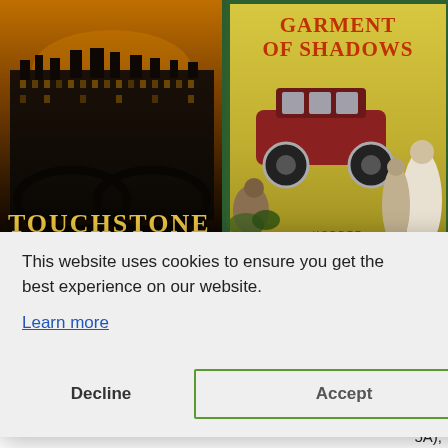[Figure (illustration): Book cover for 'Touchstone' — dark moody illustration of a large Victorian building (possibly a hotel or government building) against an amber/orange sky. The title 'TOUCHSTONE' appears at the bottom in gold/yellow art-deco style lettering.]
[Figure (illustration): Book cover for 'Garment of Shadows' — vintage art deco style illustration with a yellow/gold background. Title in red at top. A vintage automobile and robed figures in a Middle Eastern setting. Green border frame.]
This website uses cookies to ensure you get the best experience on our website.
Learn more
Decline
Accept
lows
5A),
39
author of the Mary Russell &
Includes the novella